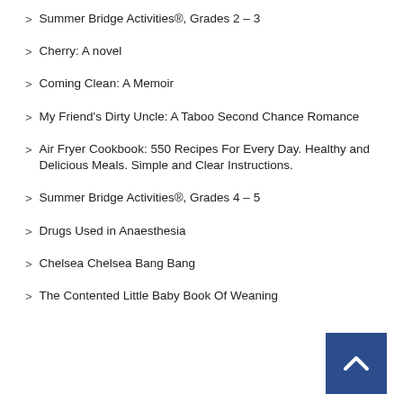Summer Bridge Activities®, Grades 2 – 3
Cherry: A novel
Coming Clean: A Memoir
My Friend's Dirty Uncle: A Taboo Second Chance Romance
Air Fryer Cookbook: 550 Recipes For Every Day. Healthy and Delicious Meals. Simple and Clear Instructions.
Summer Bridge Activities®, Grades 4 – 5
Drugs Used in Anaesthesia
Chelsea Chelsea Bang Bang
The Contented Little Baby Book Of Weaning